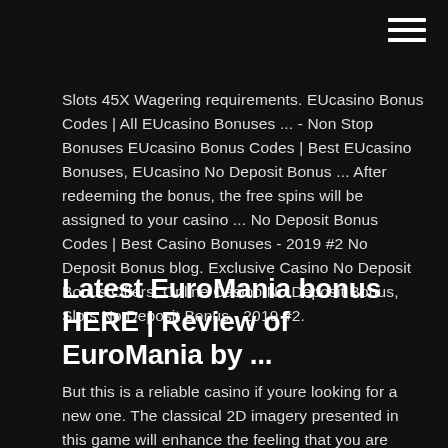Slots 45X Wagering requirements. EUcasino Bonus Codes | All EUcasino Bonuses ... - Non Stop Bonuses EUcasino Bonus Codes | Best EUcasino Bonuses, EUcasino No Deposit Bonus ... After redeeming the bonus, the free spins will be assigned to your casino ... No Deposit Bonus Codes | Best Casino Bonuses - 2019 #2 No Deposit Bonus blog. Exclusive Casino No Deposit Bonus Offers, Online Casino No Deposit Bonus, Slots No Deposit Bonus - 2019 #2.
Latest EuroMania bonus HERE | Review of EuroMania by ...
But this is a reliable casino if youre looking for a new one. The classical 2D imagery presented in this game will enhance the feeling that you are fighting an ancient war,